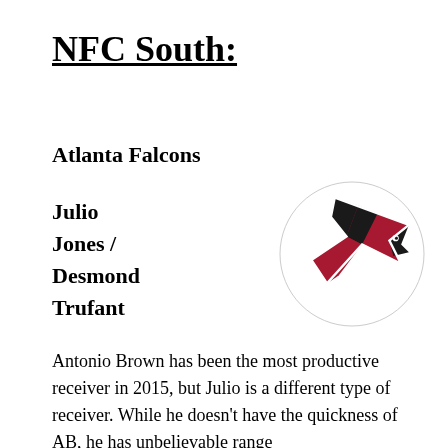NFC South:
Atlanta Falcons
Julio Jones / Desmond Trufant
[Figure (logo): Atlanta Falcons NFL team logo — a stylized falcon head in black, red, and white facing right]
Antonio Brown has been the most productive receiver in 2015, but Julio is a different type of receiver. While he doesn't have the quickness of AB, he has unbelievable range